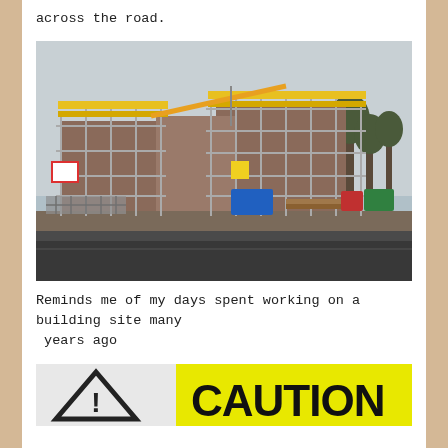across the road.
[Figure (photo): Construction site with scaffolding around a building under construction. Yellow scaffolding boards visible at top, construction equipment, fencing, and building materials on the ground. Overcast sky in background with trees on right side.]
Reminds me of my days spent working on a building site many years ago
[Figure (photo): Partial view of a yellow caution sign with black text reading CAUTION and a warning triangle symbol on the left side.]